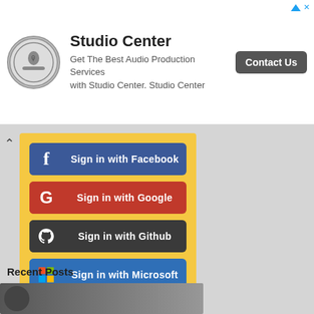[Figure (screenshot): Studio Center advertisement banner with circular logo, title 'Studio Center', tagline 'Get The Best Audio Production Services with Studio Center. Studio Center', and a 'Contact Us' button. Top-right shows an ad icon with arrow and X.]
[Figure (screenshot): Social sign-in panel on yellow background showing five buttons: Sign in with Facebook (blue), Sign in with Google (red), Sign in with Github (dark gray), Sign in with Microsoft (blue), Sign in with LinkedIn (light blue). A chevron/collapse arrow is at the top left.]
Recent Posts
[Figure (photo): Partial bottom image strip, dark/gray, partially visible at the bottom of the page.]